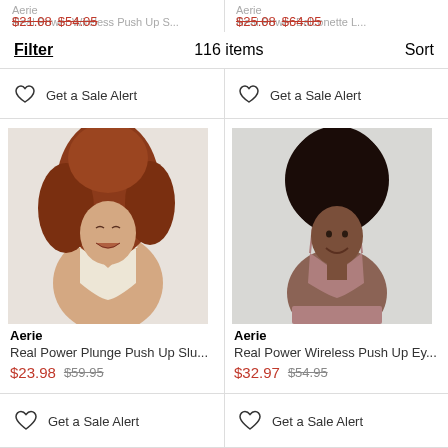Filter  116 items  Sort
Aerie
Real Power Wireless Push Up S...
$21.08 $54.05
Aerie
Real Power Balconette L...
$25.08 $64.05
Get a Sale Alert
Get a Sale Alert
[Figure (photo): Woman with curly red hair laughing, wearing a white bra]
Aerie
Real Power Plunge Push Up Slu...
$23.98 $59.95
Get a Sale Alert
[Figure (photo): Woman with natural afro hair wearing a mauve/dusty pink bra]
Aerie
Real Power Wireless Push Up Ey...
$32.97 $54.95
Get a Sale Alert